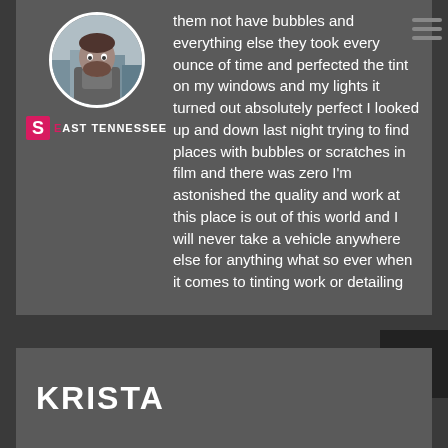[Figure (photo): Circular avatar of a bearded man with a city background, beside a logo reading 'S East Tennessee' with a pink S icon]
them not have bubbles and everything else they took every ounce of time and perfected the tint on my windows and my lights it turned out absolutely perfect I looked up and down last night trying to find places with bubbles or scratches in film and there was zero I'm astonished the quality and work at this place is out of this world and I will never take a vehicle anywhere else for anything what so ever when it comes to tinting work or detailing
KRISTA